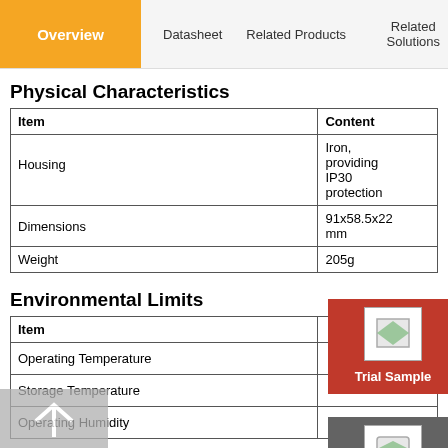Overview | Datasheet | Related Products | Related Solutions
Physical Characteristics
| Item | Content |
| --- | --- |
| Housing | Iron, providing IP30 protection |
| Dimensions | 91x58.5x22 mm |
| Weight | 205g |
Environmental Limits
| Item |  |
| --- | --- |
| Operating Temperature |  |
| Storage Temperature |  |
| Operating Humidity |  |